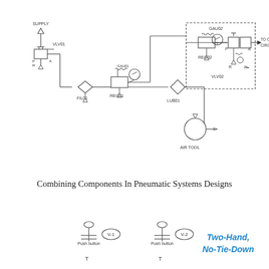[Figure (engineering-diagram): Pneumatic system schematic showing supply, VLV01 valve, FIL01 filter, REG01 regulator with GAU01 gauge, LUB01 lubricator, air tool, REG02 regulator with GAU02 gauge, VLV02 valve assembly with pressure relief, connected to control circuit.]
Combining Components In Pneumatic Systems Designs
[Figure (schematic): Bottom portion showing two push button valve symbols (V-1, V-2) and partial text 'Two-Hand, No-Tie-Down']